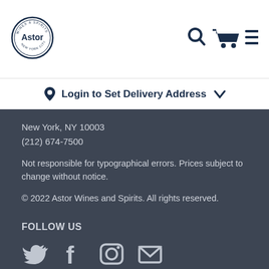[Figure (logo): Astor Wines & Spirits circular logo with text 'WINES & SPIRITS', 'Astor', 'NEW YORK CITY']
[Figure (illustration): Navigation icons: search magnifier, shopping cart, hamburger menu in dark navy]
Login to Set Delivery Address
New York, NY 10003
(212) 674-7500
Not responsible for typographical errors. Prices subject to change without notice.
© 2022 Astor Wines and Spirits. All rights reserved.
FOLLOW US
[Figure (illustration): Social media icons: Twitter bird, Facebook f, Instagram camera, envelope/email]